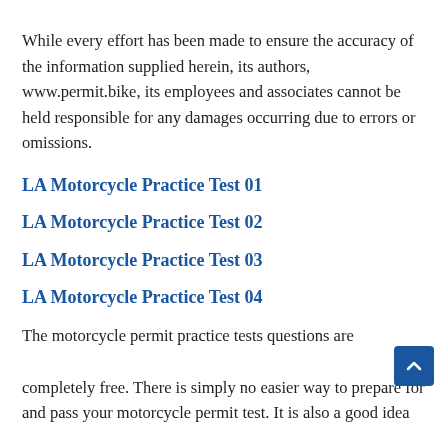While every effort has been made to ensure the accuracy of the information supplied herein, its authors, www.permit.bike, its employees and associates cannot be held responsible for any damages occurring due to errors or omissions.
LA Motorcycle Practice Test 01
LA Motorcycle Practice Test 02
LA Motorcycle Practice Test 03
LA Motorcycle Practice Test 04
The motorcycle permit practice tests questions are completely free. There is simply no easier way to prepare for and pass your motorcycle permit test. It is also a good idea